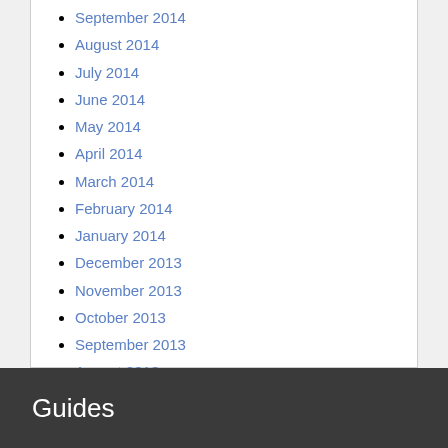September 2014
August 2014
July 2014
June 2014
May 2014
April 2014
March 2014
February 2014
January 2014
December 2013
November 2013
October 2013
September 2013
August 2013
May 2013
Guides